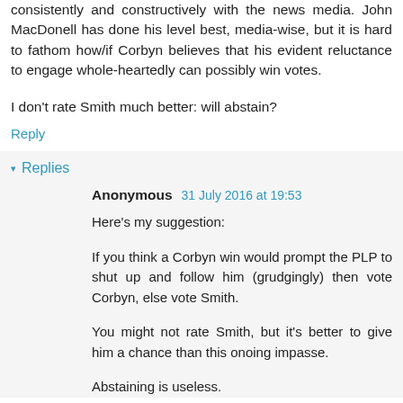consistently and constructively with the news media. John MacDonell has done his level best, media-wise, but it is hard to fathom how/if Corbyn believes that his evident reluctance to engage whole-heartedly can possibly win votes.
I don't rate Smith much better: will abstain?
Reply
Replies
Anonymous 31 July 2016 at 19:53
Here's my suggestion:

If you think a Corbyn win would prompt the PLP to shut up and follow him (grudgingly) then vote Corbyn, else vote Smith.

You might not rate Smith, but it's better to give him a chance than this onoing impasse.

Abstaining is useless.